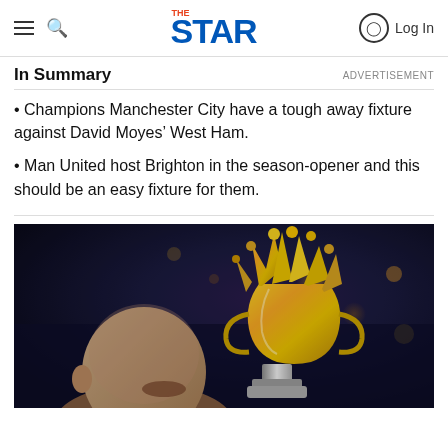THE STAR
In Summary
Champions Manchester City have a tough away fixture against David Moyes' West Ham.
Man United host Brighton in the season-opener and this should be an easy fixture for them.
[Figure (photo): A bald man kissing or holding the Premier League trophy (golden crown-shaped trophy) against a dark stadium background]